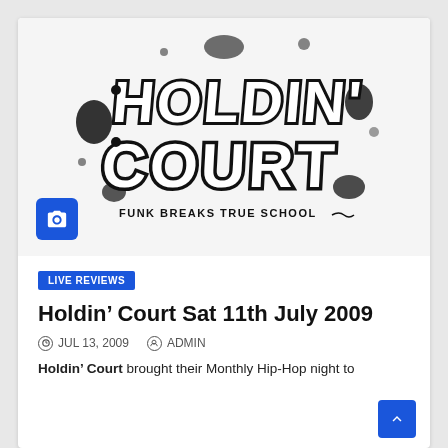[Figure (logo): Holdin' Court graffiti-style logo in black and white with text 'FUNK BREAKS TRUE SCHOOL' below]
LIVE REVIEWS
Holdin' Court Sat 11th July 2009
JUL 13, 2009  ADMIN
Holdin' Court brought their Monthly Hip-Hop night to